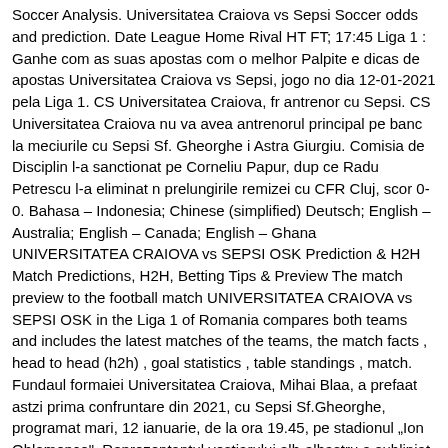Soccer Analysis. Universitatea Craiova vs Sepsi Soccer odds and prediction. Date League Home Rival HT FT; 17:45 Liga 1 : Ganhe com as suas apostas com o melhor Palpite e dicas de apostas Universitatea Craiova vs Sepsi, jogo no dia 12-01-2021 pela Liga 1. CS Universitatea Craiova, fr antrenor cu Sepsi. CS Universitatea Craiova nu va avea antrenorul principal pe banc la meciurile cu Sepsi Sf. Gheorghe i Astra Giurgiu. Comisia de Disciplin l-a sanctionat pe Corneliu Papur, dup ce Radu Petrescu l-a eliminat n prelungirile remizei cu CFR Cluj, scor 0-0. Bahasa – Indonesia; Chinese (simplified) Deutsch; English – Australia; English – Canada; English – Ghana UNIVERSITATEA CRAIOVA vs SEPSI OSK Prediction & H2H Match Predictions, H2H, Betting Tips & Preview The match preview to the football match UNIVERSITATEA CRAIOVA vs SEPSI OSK in the Liga 1 of Romania compares both teams and includes the latest matches of the teams, the match facts , head to head (h2h) , goal statistics , table standings , match. Fundaul formaiei Universitatea Craiova, Mihai Blaa, a prefaat astzi prima confruntare din 2021, cu Sepsi Sf.Gheorghe, programat mari, 12 ianuarie, de la ora 19.45, pe stadionul „Ion Oblemenco". Reprezentantul vestiarului alb-albastru a subliniat c misiunea nu va fi deloc uoar, dar consider c echipa este pregtit pentru victorie. Universitatea Craiova o ntlnete pe OSK Sepsi Sfntu Gheorghe, mari, 12 ianuarie, de la ora 19:45, pe arena Ion Oblemenco, ntr-un duel din etapa a 16-a a Ligii